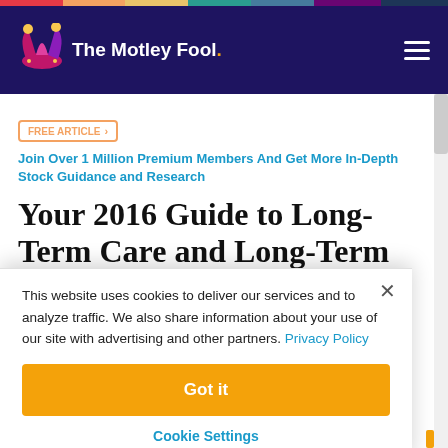The Motley Fool
FREE ARTICLE › Join Over 1 Million Premium Members And Get More In-Depth Stock Guidance and Research
Your 2016 Guide to Long-Term Care and Long-Term Care...
This website uses cookies to deliver our services and to analyze traffic. We also share information about your use of our site with advertising and other partners. Privacy Policy
Got it
Cookie Settings